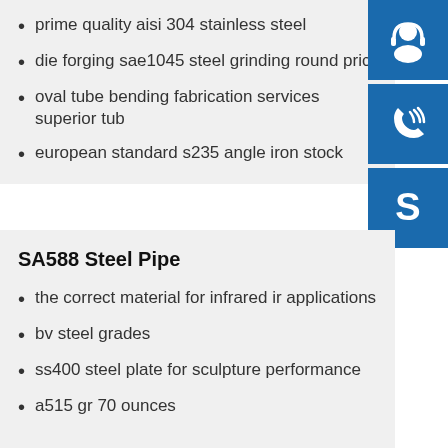prime quality aisi 304 stainless steel
die forging sae1045 steel grinding round price
oval tube bending fabrication services superior tube
european standard s235 angle iron stock
[Figure (illustration): Three blue square icon buttons on the right side: a customer support headset icon, a phone with signal waves icon, and a Skype 'S' logo icon.]
SA588 Steel Pipe
the correct material for infrared ir applications
bv steel grades
ss400 steel plate for sculpture performance
a515 gr 70 ounces